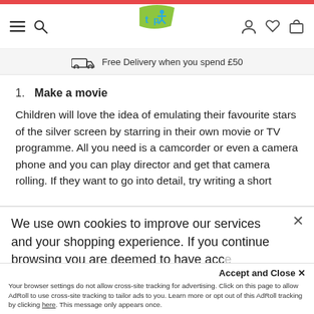Toys Plus website header with navigation: hamburger menu, search, logo, account, wishlist, cart icons
Free Delivery when you spend £50
1. Make a movie
Children will love the idea of emulating their favourite stars of the silver screen by starring in their own movie or TV programme. All you need is a camcorder or even a camera phone and you can play director and get that camera rolling. If they want to go into detail, try writing a short script and gathering some props first. When you've finished, they can even have fun editing themselves on the computer. Don't
We use own cookies to improve our services and your shopping experience. If you continue browsing you are deemed to have accepted...
Accept and Close ✕
Your browser settings do not allow cross-site tracking for advertising. Click on this page to allow AdRoll to use cross-site tracking to tailor ads to you. Learn more or opt out of this AdRoll tracking by clicking here. This message only appears once.